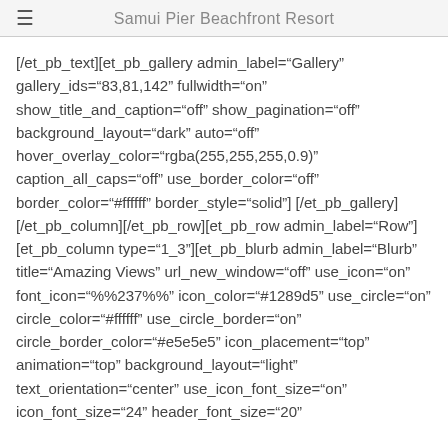Samui Pier Beachfront Resort
[/et_pb_text][et_pb_gallery admin_label="Gallery" gallery_ids="83,81,142" fullwidth="on" show_title_and_caption="off" show_pagination="off" background_layout="dark" auto="off" hover_overlay_color="rgba(255,255,255,0.9)" caption_all_caps="off" use_border_color="off" border_color="#ffffff" border_style="solid"] [/et_pb_gallery][/et_pb_column][/et_pb_row][et_pb_row admin_label="Row"][et_pb_column type="1_3"][et_pb_blurb admin_label="Blurb" title="Amazing Views" url_new_window="off" use_icon="on" font_icon="%%237%%" icon_color="#1289d5" use_circle="on" circle_color="#ffffff" use_circle_border="on" circle_border_color="#e5e5e5" icon_placement="top" animation="top" background_layout="light" text_orientation="center" use_icon_font_size="on" icon_font_size="24" header_font_size="20"